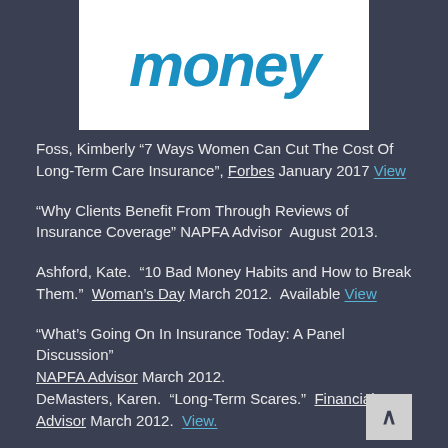[Figure (logo): Money logo in bold italic blue text on white background]
Foss, Kimberly “7 Ways Women Can Cut The Cost Of Long-Term Care Insurance”, Forbes January 2017 View
“Why Clients Benefit From Through Reviews of Insurance Coverage” NAPFA Advisor August 2013.
Ashford, Kate. “10 Bad Money Habits and How to Break Them.” Woman’s Day March 2012. Available View
“What’s Going On In Insurance Today: A Panel Discussion” NAPFA Advisor March 2012. DeMasters, Karen. “Long-Term Scares.” Financial Advisor March 2012. View.